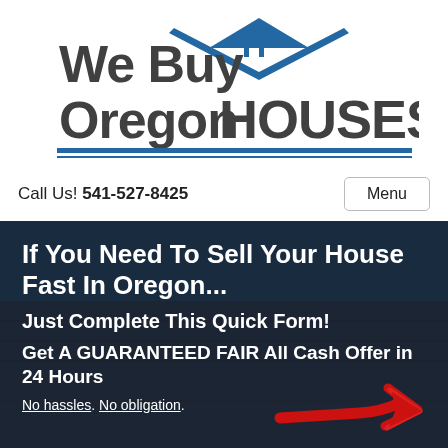[Figure (logo): We Buy Oregon HOUSES logo with blue house roof/triangle icon and blue underline]
Call Us! 541-527-8425
Menu
If You Need To Sell Your House Fast In Oregon...
Just Complete This Quick Form!
Get A GUARANTEED FAIR All Cash Offer in 24 Hours
No hassles. No obligation.
[Figure (illustration): Red hand-drawn arrow pointing right on dark background with house roof visible]